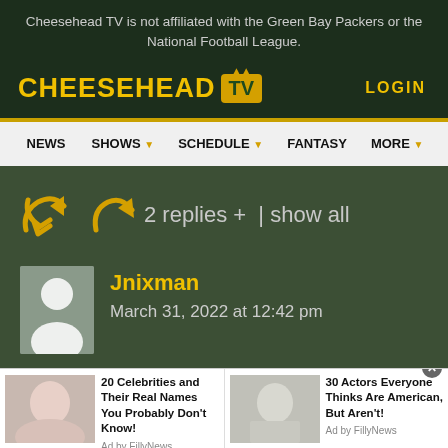Cheesehead TV is not affiliated with the Green Bay Packers or the National Football League.
[Figure (logo): Cheesehead TV logo with yellow text and TV box icon, LOGIN link on right]
NEWS  SHOWS  SCHEDULE  FANTASY  MORE
2 replies +  | show all
Jnixman
March 31, 2022 at 12:42 pm
[Figure (photo): Two advertisement banners: '20 Celebrities and Their Real Names You Probably Don't Know!' Ad by FillyNews, and '30 Actors Everyone Thinks Are American, But Aren't!' Ad by FillyNews]